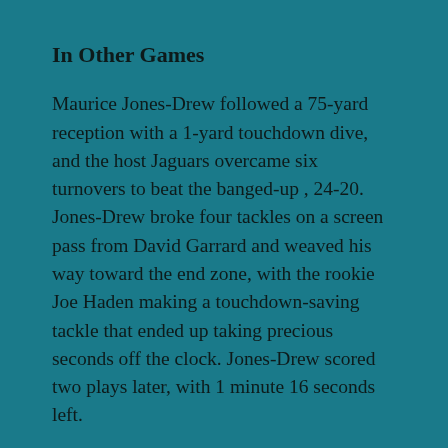In Other Games
Maurice Jones-Drew followed a 75-yard reception with a 1-yard touchdown dive, and the host Jaguars overcame six turnovers to beat the banged-up , 24-20. Jones-Drew broke four tackles on a screen pass from David Garrard and weaved his way toward the end zone, with the rookie Joe Haden making a touchdown-saving tackle that ended up taking precious seconds off the clock. Jones-Drew scored two plays later, with 1 minute 16 seconds left.
¶Matt Ryan threw two scoring passes and